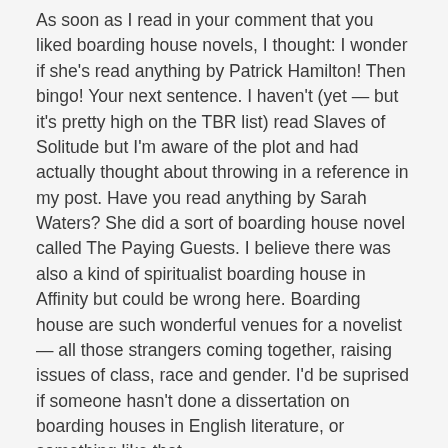As soon as I read in your comment that you liked boarding house novels, I thought: I wonder if she's read anything by Patrick Hamilton! Then bingo! Your next sentence. I haven't (yet — but it's pretty high on the TBR list) read Slaves of Solitude but I'm aware of the plot and had actually thought about throwing in a reference in my post. Have you read anything by Sarah Waters? She did a sort of boarding house novel called The Paying Guests. I believe there was also a kind of spiritualist boarding house in Affinity but could be wrong here. Boarding house are such wonderful venues for a novelist — all those strangers coming together, raising issues of class, race and gender. I'd be suprised if someone hasn't done a dissertation on boarding houses in English literature, or something like that.
I'm glad you enjoyed the Athill reference. When I read Stet, like you I didn't know Brian Moore being only vaguely aware he had written several books that I had never read. I had a lot of fun teasing out Athill's discussion of Moore and, in